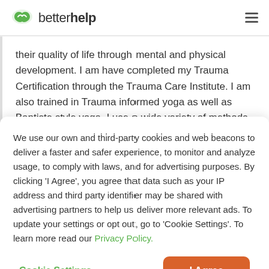betterhelp
their quality of life through mental and physical development. I am have completed my Trauma Certification through the Trauma Care Institute. I am also trained in Trauma informed yoga as well as Baptiste style yoga. I use a wide variety of methods in counseling. One of
We use our own and third-party cookies and web beacons to deliver a faster and safer experience, to monitor and analyze usage, to comply with laws, and for advertising purposes. By clicking 'I Agree', you agree that data such as your IP address and third party identifier may be shared with advertising partners to help us deliver more relevant ads. To update your settings or opt out, go to 'Cookie Settings'. To learn more read our Privacy Policy.
Cookie Settings
I Agree